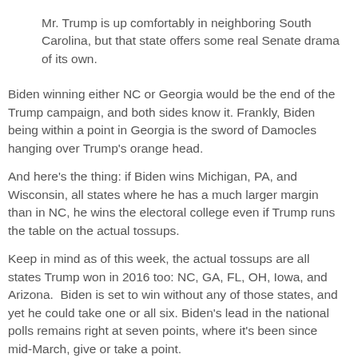Mr. Trump is up comfortably in neighboring South Carolina, but that state offers some real Senate drama of its own.
Biden winning either NC or Georgia would be the end of the Trump campaign, and both sides know it. Frankly, Biden being within a point in Georgia is the sword of Damocles hanging over Trump's orange head.
And here's the thing: if Biden wins Michigan, PA, and Wisconsin, all states where he has a much larger margin than in NC, he wins the electoral college even if Trump runs the table on the actual tossups.
Keep in mind as of this week, the actual tossups are all states Trump won in 2016 too: NC, GA, FL, OH, Iowa, and Arizona.  Biden is set to win without any of those states, and yet he could take one or all six. Biden's lead in the national polls remains right at seven points, where it's been since mid-March, give or take a point.